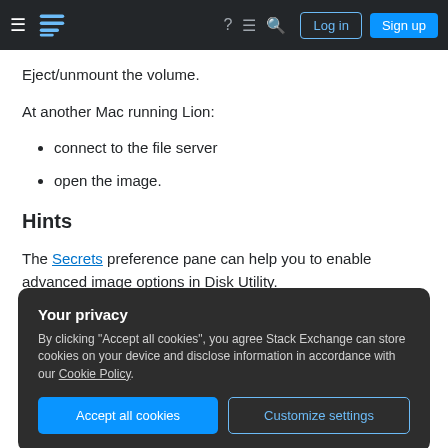Stack Exchange navigation bar with Log in and Sign up buttons
Eject/unmount the volume.
At another Mac running Lion:
connect to the file server
open the image.
Hints
The Secrets preference pane can help you to enable advanced image options in Disk Utility.
Your privacy
By clicking "Accept all cookies", you agree Stack Exchange can store cookies on your device and disclose information in accordance with our Cookie Policy.
Accept all cookies  Customize settings
Multiple users